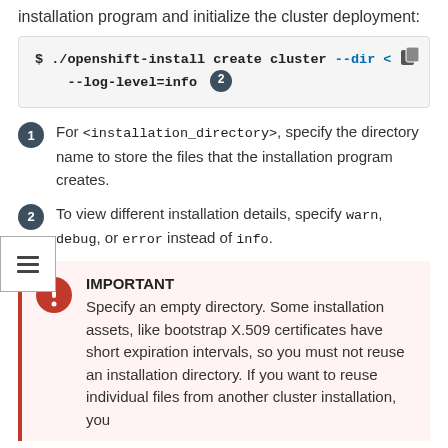installation program and initialize the cluster deployment:
$ ./openshift-install create cluster --dir < --log-level=info 2
For <installation_directory>, specify the directory name to store the files that the installation program creates.
To view different installation details, specify warn, debug, or error instead of info.
IMPORTANT
Specify an empty directory. Some installation assets, like bootstrap X.509 certificates have short expiration intervals, so you must not reuse an installation directory. If you want to reuse individual files from another cluster installation, you